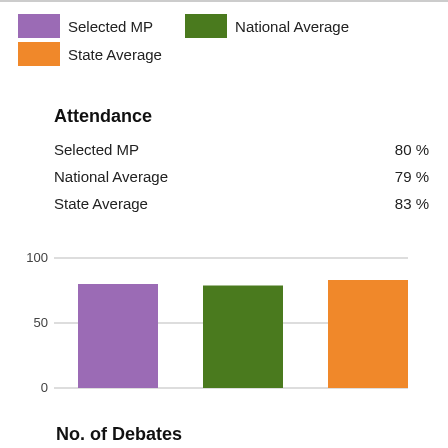[Figure (bar-chart): Attendance]
No. of Debates